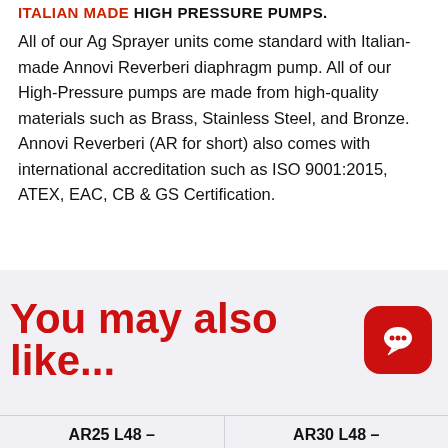ITALIAN MADE HIGH PRESSURE PUMPS.
All of our Ag Sprayer units come standard with Italian-made Annovi Reverberi diaphragm pump. All of our High-Pressure pumps are made from high-quality materials such as Brass, Stainless Steel, and Bronze. Annovi Reverberi (AR for short) also comes with international accreditation such as ISO 9001:2015, ATEX, EAC, CB & GS Certification.
You may also like...
AR25 L48 –
AR30 L48 –